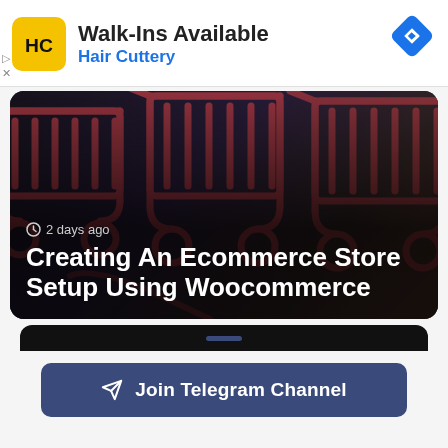[Figure (logo): Hair Cuttery advertisement banner with yellow logo, 'Walk-Ins Available' heading, blue 'Hair Cuttery' subtitle, and blue diamond navigation arrow icon on the right]
[Figure (photo): Dark background with red/pink shopping cart icons, timestamp '2 days ago', and bold white title 'Creating An Ecommerce Store Setup Using Woocommerce']
Join Telegram Channel